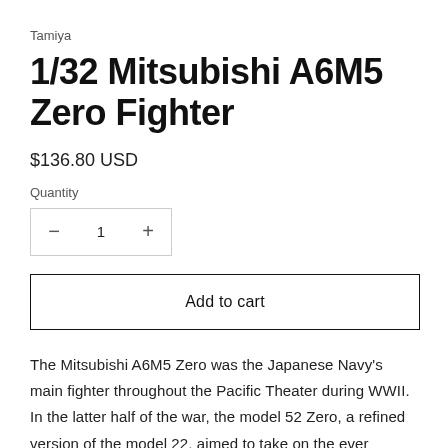Tamiya
1/32 Mitsubishi A6M5 Zero Fighter
$136.80 USD
Quantity
− 1 +
Add to cart
The Mitsubishi A6M5 Zero was the Japanese Navy's main fighter throughout the Pacific Theater during WWII. In the latter half of the war, the model 52 Zero, a refined version of the model 22, aimed to take on the ever increasing numbers